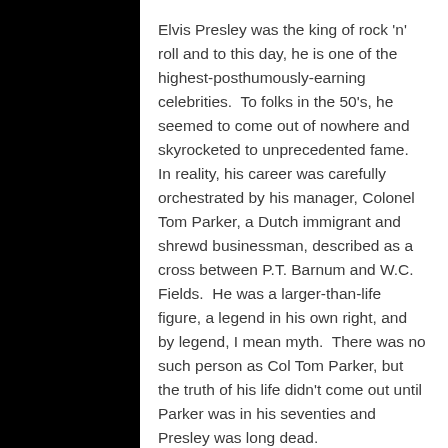Elvis Presley was the king of rock 'n' roll and to this day, he is one of the highest-posthumously-earning celebrities.  To folks in the 50's, he seemed to come out of nowhere and skyrocketed to unprecedented fame.  In reality, his career was carefully orchestrated by his manager, Colonel Tom Parker, a Dutch immigrant and shrewd businessman, described as a cross between P.T. Barnum and W.C. Fields.  He was a larger-than-life figure, a legend in his own right, and by legend, I mean myth.  There was no such person as Col Tom Parker, but the truth of his life didn't come out until Parker was in his seventies and Presley was long dead.